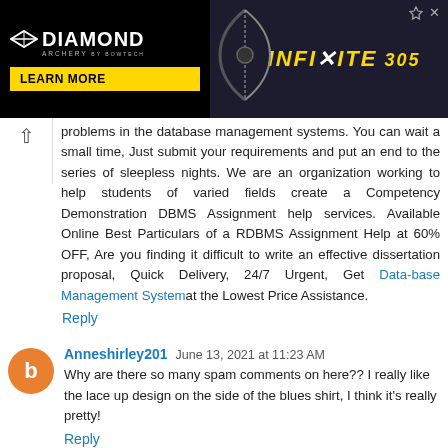[Figure (screenshot): Diamond Archery advertisement banner with 'LEARN MORE' button in yellow on black background left, and 'INFINITE 305' text in gold on dark background right, with a compound bow image]
problems in the database management systems. You can wait a small time, Just submit your requirements and put an end to the series of sleepless nights. We are an organization working to help students of varied fields create a Competency Demonstration DBMS Assignment help services. Available Online Best Particulars of a RDBMS Assignment Help at 60% OFF, Are you finding it difficult to write an effective dissertation proposal, Quick Delivery, 24/7 Urgent, Get Data-base Management System at the Lowest Price Assistance.
Reply
Anneshirley201 June 13, 2021 at 11:23 AM
Why are there so many spam comments on here?? I really like the lace up design on the side of the blues shirt, I think it's really pretty!
Reply